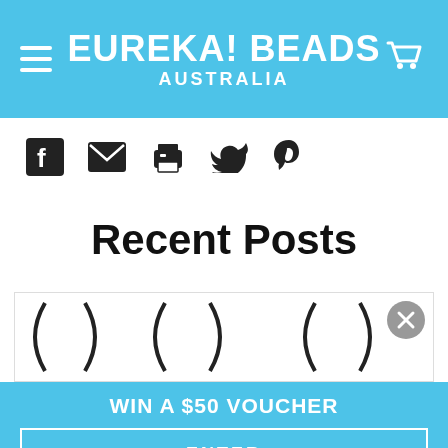EUREKA! BEADS AUSTRALIA
[Figure (infographic): Social share icons: Facebook, Email, Print, Twitter, Pinterest]
Recent Posts
[Figure (photo): Partial view of beads/jewelry items, with a close (X) button overlay]
WIN A $50 VOUCHER
ENTER